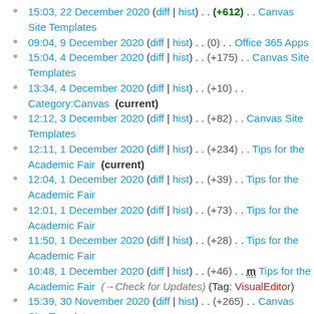15:03, 22 December 2020 (diff | hist) . . (+612) . . Canvas Site Templates
09:04, 9 December 2020 (diff | hist) . . (0) . . Office 365 Apps
15:04, 4 December 2020 (diff | hist) . . (+175) . . Canvas Site Templates
13:34, 4 December 2020 (diff | hist) . . (+10) . . Category:Canvas (current)
12:12, 3 December 2020 (diff | hist) . . (+82) . . Canvas Site Templates
12:11, 1 December 2020 (diff | hist) . . (+234) . . Tips for the Academic Fair (current)
12:04, 1 December 2020 (diff | hist) . . (+39) . . Tips for the Academic Fair
12:01, 1 December 2020 (diff | hist) . . (+73) . . Tips for the Academic Fair
11:50, 1 December 2020 (diff | hist) . . (+28) . . Tips for the Academic Fair
10:48, 1 December 2020 (diff | hist) . . (+46) . . m Tips for the Academic Fair (→Check for Updates) (Tag: VisualEditor)
15:39, 30 November 2020 (diff | hist) . . (+265) . . Canvas Site Templates